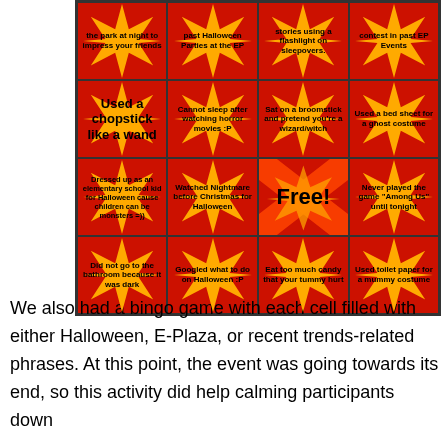[Figure (other): Halloween Bingo card with 4x4 grid on red background. Row 1 (partial): 'the park at night to impress your friends', 'past Halloween Parties at the EP', 'stories using a flashlight on sleepovers', 'contest in past EP Events'. Row 2: 'Used a chopstick like a wand', 'Cannot sleep after watching horror movies :P', 'Sat on a broomstick and pretend you\'re a wizard/witch', 'Used a bed sheet for a ghost costume'. Row 3: 'Dressed up as an elementary school kid for Halloween cause children can be monsters =))', 'Watched Nightmare before Christmas for Halloween', 'Free!', 'Never played the game "Among Us" until tonight'. Row 4: 'Did not go to the bathroom because it was dark', 'Googled what to do on Halloween :P', 'Eat too much candy that your tummy hurt', 'Used toilet paper for a mummy costume'.]
We also had a bingo game with each cell filled with either Halloween, E-Plaza, or recent trends-related phrases. At this point, the event was going towards its end, so this activity did help calming participants down